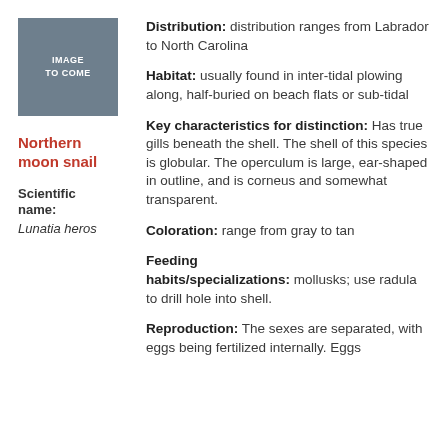[Figure (photo): Gray-blue placeholder box with text IMAGE TO COME]
Northern moon snail
Scientific name: Lunatia heros
Distribution: distribution ranges from Labrador to North Carolina
Habitat: usually found in inter-tidal plowing along, half-buried on beach flats or sub-tidal
Key characteristics for distinction: Has true gills beneath the shell. The shell of this species is globular. The operculum is large, ear-shaped in outline, and is corneus and somewhat transparent.
Coloration: range from gray to tan
Feeding habits/specializations: mollusks; use radula to drill hole into shell.
Reproduction: The sexes are separated, with eggs being fertilized internally. Eggs